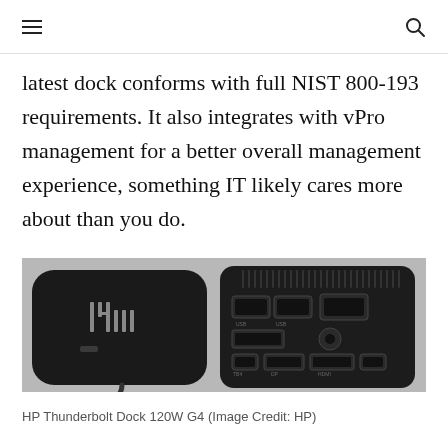≡  🔍
latest dock conforms with full NIST 800-193 requirements. It also integrates with vPro management for a better overall management experience, something IT likely cares more about than you do.
[Figure (photo): HP Thunderbolt Dock 120W G4 shown from two angles: front-left showing the HP logo and design, and rear showing ports including USB-A, Ethernet, DisplayPort, power connector, USB-C, and HDMI ports.]
HP Thunderbolt Dock 120W G4 (Image Credit: HP)